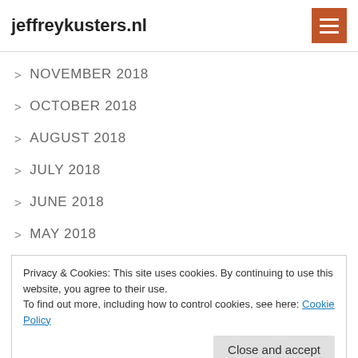jeffreykusters.nl
> NOVEMBER 2018
> OCTOBER 2018
> AUGUST 2018
> JULY 2018
> JUNE 2018
> MAY 2018
Privacy & Cookies: This site uses cookies. By continuing to use this website, you agree to their use.
To find out more, including how to control cookies, see here: Cookie Policy
Close and accept
> DECEMBER 2017